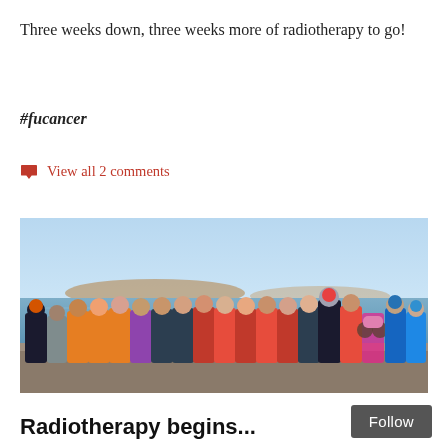Three weeks down, three weeks more of radiotherapy to go!
#fucancer
View all 2 comments
[Figure (photo): Group photo of approximately 20 people, mostly in orange and red sports tops, standing together outdoors in front of a body of water with a distant shoreline. One person has a baby in a pram. The sky is clear blue.]
Radiotherapy begins...